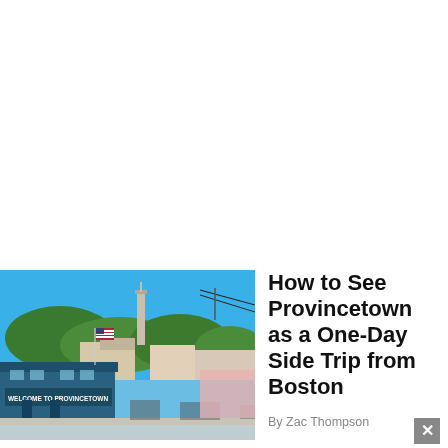[Figure (photo): Outdoor photo of Provincetown, Massachusetts, showing a 'Welcome to Provincetown' sign on a blue building in the foreground, an American flag, trees, a tall monument/tower in the background, and power lines against a bright blue sky.]
How to See Provincetown as a One-Day Side Trip from Boston
By Zac Thompson